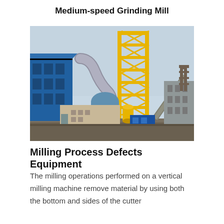Medium-speed Grinding Mill
[Figure (photo): Outdoor industrial facility showing a medium-speed grinding mill installation with yellow steel framework tower, blue building structures, large gray ductwork, conveyor belts, and a central grinding mill unit, taken at an industrial plant site.]
Milling Process Defects Equipment
The milling operations performed on a vertical milling machine remove material by using both the bottom and sides of the cutter